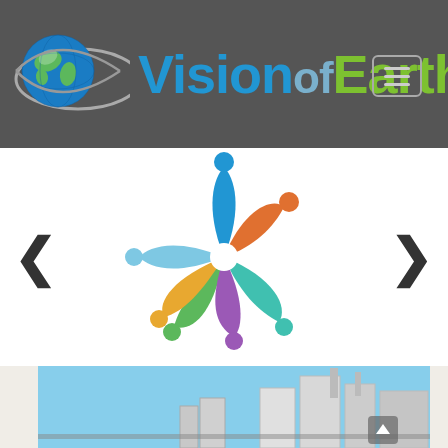[Figure (logo): Vision of Earth logo with globe icon and eye/swoosh design on dark grey header background, with hamburger menu button]
[Figure (illustration): Colorful pinwheel logo made of stylized human figures in blue, orange, teal, green, purple, and yellow arranged in a circle, on white background with left and right navigation arrows]
[Figure (photo): Industrial facility/factory photo showing large white silos, buildings and industrial equipment against a blue sky, partially visible at the bottom of the page]